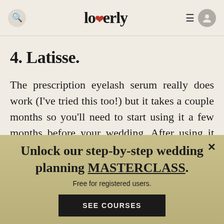loverly
4. Latisse.
The prescription eyelash serum really does work (I've tried this too!) but it takes a couple months so you'll need to start using it a few months before your wedding. After using it diligently every night for about six weeks, I started to see a difference, and
Unlock our step-by-step wedding planning MASTERCLASS. Free for registered users.
SEE COURSES